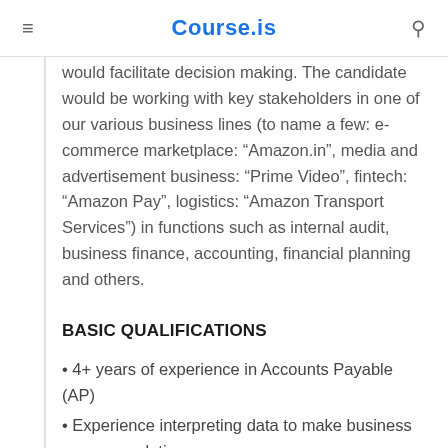Course.is
would facilitate decision making. The candidate would be working with key stakeholders in one of our various business lines (to name a few: e-commerce marketplace: “Amazon.in”, media and advertisement business: “Prime Video”, fintech: “Amazon Pay”, logistics: “Amazon Transport Services”) in functions such as internal audit, business finance, accounting, financial planning and others.
BASIC QUALIFICATIONS
• 4+ years of experience in Accounts Payable (AP)
• Experience interpreting data to make business recommendations